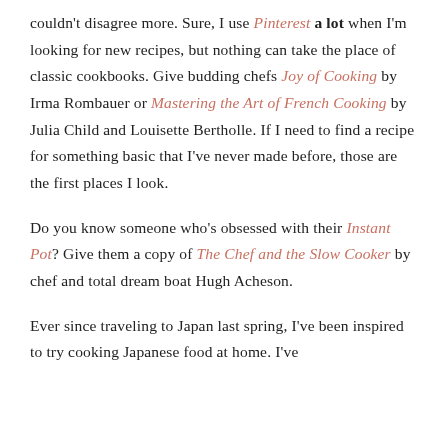couldn't disagree more. Sure, I use Pinterest a lot when I'm looking for new recipes, but nothing can take the place of classic cookbooks. Give budding chefs Joy of Cooking by Irma Rombauer or Mastering the Art of French Cooking by Julia Child and Louisette Bertholle. If I need to find a recipe for something basic that I've never made before, those are the first places I look.
Do you know someone who's obsessed with their Instant Pot? Give them a copy of The Chef and the Slow Cooker by chef and total dream boat Hugh Acheson.
Ever since traveling to Japan last spring, I've been inspired to try cooking Japanese food at home. I've